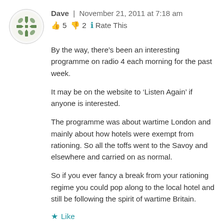[Figure (illustration): Circular avatar with decorative green snowflake/quilt pattern on white background, bordered by a light grey circle]
Dave | November 21, 2011 at 7:18 am
👍 5 👎 2 ℹ Rate This
By the way, there's been an interesting programme on radio 4 each morning for the past week.
It may be on the website to 'Listen Again' if anyone is interested.
The programme was about wartime London and mainly about how hotels were exempt from rationing. So all the toffs went to the Savoy and elsewhere and carried on as normal.
So if you ever fancy a break from your rationing regime you could pop along to the local hotel and still be following the spirit of wartime Britain.
★ Like
Reply